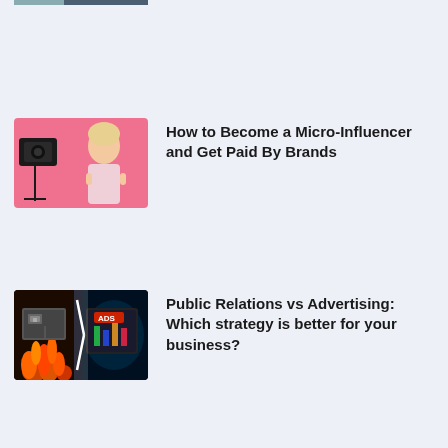[Figure (photo): Partial thumbnail image at top, cropped — only bottom portion visible]
[Figure (photo): Woman with blonde hair in pink top posing next to a camera on a tripod against pink background]
How to Become a Micro-Influencer and Get Paid By Brands
[Figure (photo): Dramatic PR vs Advertising image: billboard on fire on left side vs ADS billboard with blue electric energy on right side]
Public Relations vs Advertising: Which strategy is better for your business?